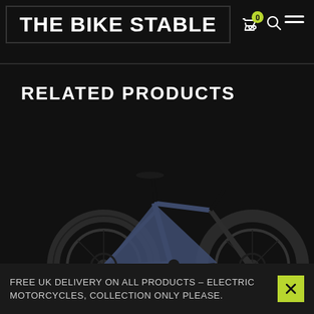THE BIKE STABLE
RELATED PRODUCTS
[Figure (photo): A dark blue/grey full-suspension mountain bike photographed against a dark background, with SOLD OUT text overlaid in the center]
FREE UK DELIVERY ON ALL PRODUCTS – ELECTRIC MOTORCYCLES, COLLECTION ONLY PLEASE.